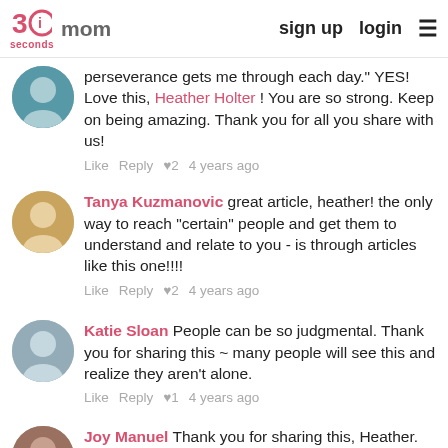30seconds mom | sign up | login
perseverance gets me through each day." YES! Love this, Heather Holter ! You are so strong. Keep on being amazing. Thank you for all you share with us!
Like Reply ♥2 4 years ago
Tanya Kuzmanovic great article, heather! the only way to reach "certain" people and get them to understand and relate to you - is through articles like this one!!!!
Like Reply ♥2 4 years ago
Katie Sloan People can be so judgmental. Thank you for sharing this ~ many people will see this and realize they aren't alone.
Like Reply ♥1 4 years ago
Joy Manuel Thank you for sharing this, Heather. It's hard when it's an invisible illness. I also tend to